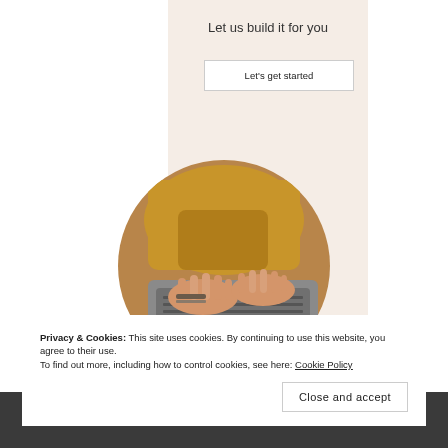Let us build it for you
Let's get started
[Figure (photo): Circular cropped photo of a person wearing a mustard/brown sweater typing on a laptop, viewed from above/side angle]
Privacy & Cookies: This site uses cookies. By continuing to use this website, you agree to their use.
To find out more, including how to control cookies, see here: Cookie Policy
Close and accept